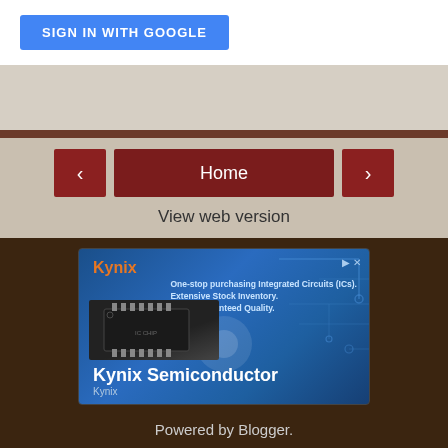[Figure (screenshot): Blue 'SIGN IN WITH GOOGLE' button on white background]
Home
View web version
[Figure (illustration): Kynix Semiconductor advertisement banner with integrated circuit chip image. Text: 'One-stop purchasing Integrated Circuits (ICs). Extensive Stock Inventory. 100% Guaranteed Quality.' Large text: 'Kynix Semiconductor'. Subtext: 'Kynix']
Powered by Blogger.